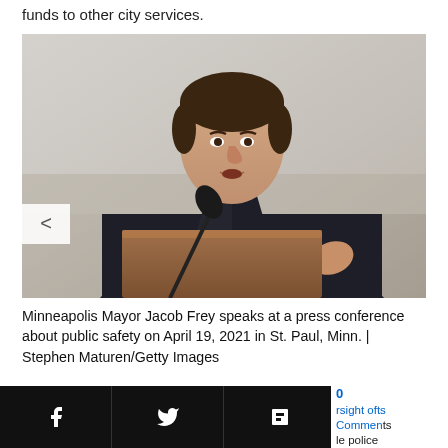funds to other city services.
[Figure (photo): Minneapolis Mayor Jacob Frey speaking at a podium/lectern, wearing a dark suit with a dark red tie, gesturing with his right hand. He is at a press conference. The background is a plain gray/white wall. A microphone is visible at lower left.]
Minneapolis Mayor Jacob Frey speaks at a press conference about public safety on April 19, 2021 in St. Paul, Minn. | Stephen Maturen/Getty Images
0 comments | oversight of | le police